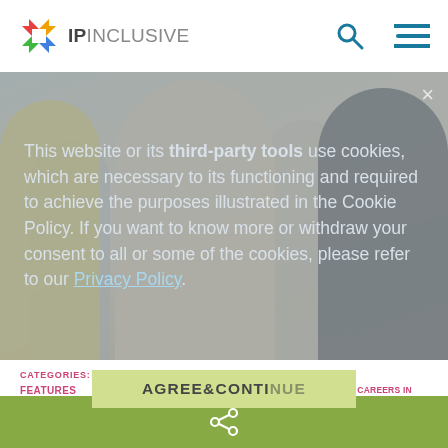[Figure (logo): IP Inclusive logo with colorful flower/cross icon and text]
[Figure (photo): Photo of young women/girls sitting in a circle talking in a classroom setting, overlaid with a semi-transparent cookie consent notice]
This website or its third-party tools use cookies, which are necessary to its functioning and required to achieve the purposes illustrated in the Cookie Policy. If you want to know more or withdraw your consent to all or some of the cookies, please refer to our Privacy Policy.
CATEGORIES:
FEATURES
TAGS:
ACCESS TO IP PROFESSIONS, CAREERS IN IDEAS, INCLUSIVITY, OUTREACH, SOCIAL MOBILITY
AGREE & CONTINUE